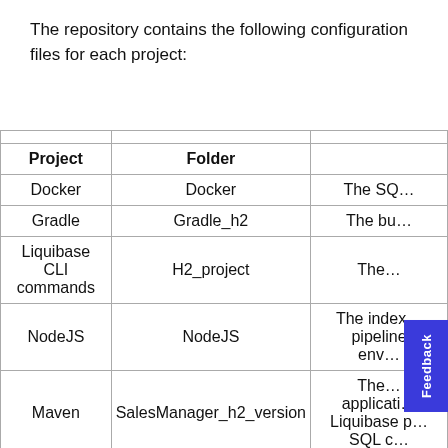The repository contains the following configuration files for each project:
| Project | Folder |  |
| --- | --- | --- |
| Docker | Docker | The SQ… |
| Gradle | Gradle_h2 | The bu… |
| Liquibase CLI commands | H2_project | The… |
| NodeJS | NodeJS | The index… pipeline env… |
| Maven | SalesManager_h2_version | The… applicati… Liquibase p… SQL c… |